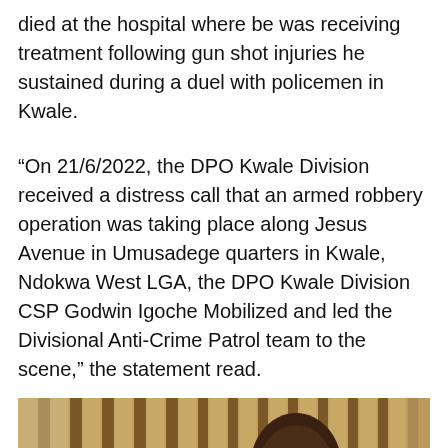died at the hospital where be was receiving treatment following gun shot injuries he sustained during a duel with policemen in Kwale.
“On 21/6/2022, the DPO Kwale Division received a distress call that an armed robbery operation was taking place along Jesus Avenue in Umusadege quarters in Kwale, Ndokwa West LGA, the DPO Kwale Division CSP Godwin Igoche Mobilized and led the Divisional Anti-Crime Patrol team to the scene,” the statement read.
[Figure (photo): A man in a yellow shirt standing in front of vertical wooden slats, with a microphone in front of him.]